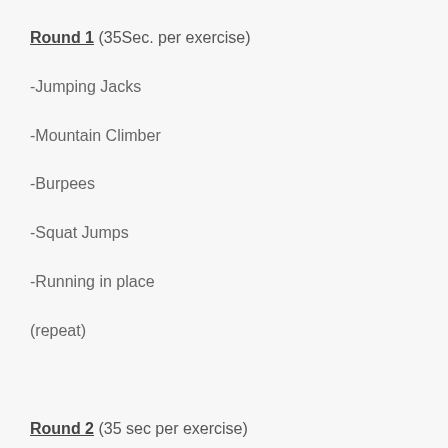Round 1 (35Sec. per exercise)
-Jumping Jacks
-Mountain Climber
-Burpees
-Squat Jumps
-Running in place
(repeat)
Round 2 (35 sec per exercise)